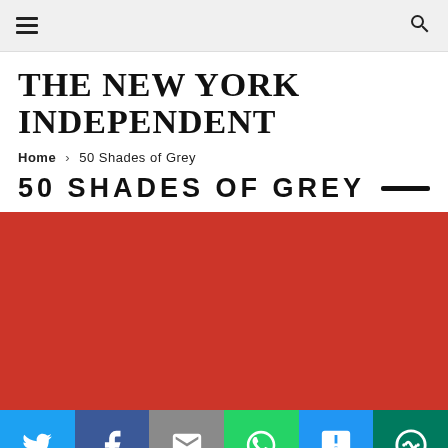THE NEW YORK INDEPENDENT
Home › 50 Shades of Grey
50 SHADES OF GREY
[Figure (photo): Red background image area for 50 Shades of Grey article]
[Figure (infographic): Social share bar with Twitter, Facebook, Email, WhatsApp, SMS, and More buttons]